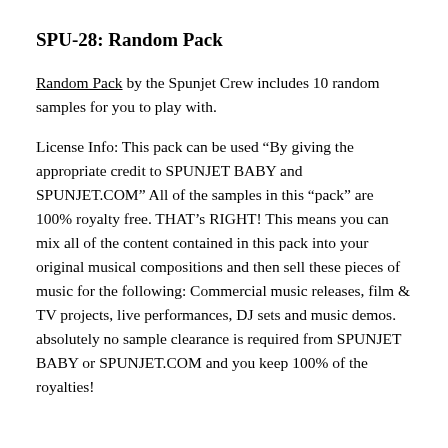SPU-28: Random Pack
Random Pack by the Spunjet Crew includes 10 random samples for you to play with.
License Info: This pack can be used “By giving the appropriate credit to SPUNJET BABY and SPUNJET.COM” All of the samples in this “pack” are 100% royalty free. THAT’s RIGHT! This means you can mix all of the content contained in this pack into your original musical compositions and then sell these pieces of music for the following: Commercial music releases, film & TV projects, live performances, DJ sets and music demos. absolutely no sample clearance is required from SPUNJET BABY or SPUNJET.COM and you keep 100% of the royalties!